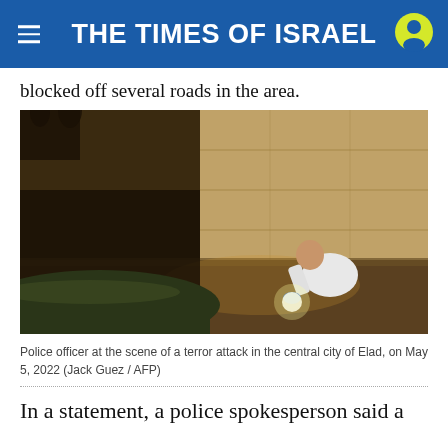THE TIMES OF ISRAEL
blocked off several roads in the area.
[Figure (photo): Police officer in white forensic suit crouching at the scene of a terror attack at night, examining the ground with a flashlight, next to a car. Dark tunnel or underpass in background.]
Police officer at the scene of a terror attack in the central city of Elad, on May 5, 2022 (Jack Guez / AFP)
In a statement, a police spokesperson said a